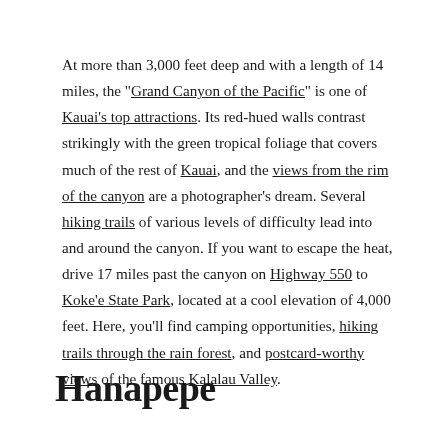At more than 3,000 feet deep and with a length of 14 miles, the "Grand Canyon of the Pacific" is one of Kauai's top attractions. Its red-hued walls contrast strikingly with the green tropical foliage that covers much of the rest of Kauai, and the views from the rim of the canyon are a photographer's dream. Several hiking trails of various levels of difficulty lead into and around the canyon. If you want to escape the heat, drive 17 miles past the canyon on Highway 550 to Koke'e State Park, located at a cool elevation of 4,000 feet. Here, you'll find camping opportunities, hiking trails through the rain forest, and postcard-worthy views of the famous Kalalau Valley.
Hanapepe